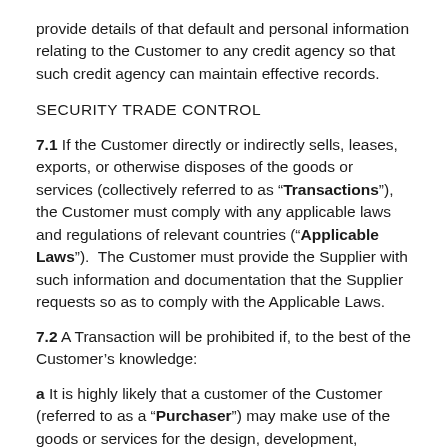provide details of that default and personal information relating to the Customer to any credit agency so that such credit agency can maintain effective records.
SECURITY TRADE CONTROL
7.1  If the Customer directly or indirectly sells, leases, exports, or otherwise disposes of the goods or services (collectively referred to as “Transactions”), the Customer must comply with any applicable laws and regulations of relevant countries (“Applicable Laws”).  The Customer must provide the Supplier with such information and documentation that the Supplier requests so as to comply with the Applicable Laws.
7.2  A Transaction will be prohibited if, to the best of the Customer’s knowledge:
a  It is highly likely that a customer of the Customer (referred to as a “Purchaser”) may make use of the goods or services for the design, development, production, use or stockpiling of any